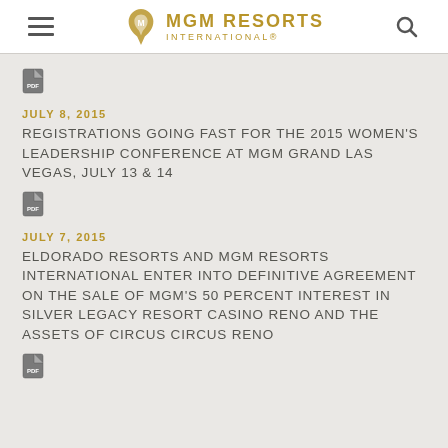MGM RESORTS INTERNATIONAL
[Figure (other): PDF document icon]
JULY 8, 2015
REGISTRATIONS GOING FAST FOR THE 2015 WOMEN'S LEADERSHIP CONFERENCE AT MGM GRAND LAS VEGAS, JULY 13 & 14
[Figure (other): PDF document icon]
JULY 7, 2015
ELDORADO RESORTS AND MGM RESORTS INTERNATIONAL ENTER INTO DEFINITIVE AGREEMENT ON THE SALE OF MGM'S 50 PERCENT INTEREST IN SILVER LEGACY RESORT CASINO RENO AND THE ASSETS OF CIRCUS CIRCUS RENO
[Figure (other): PDF document icon]